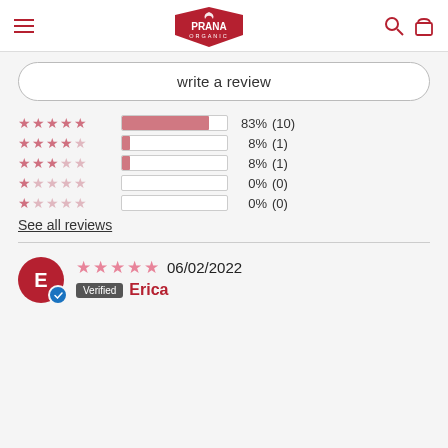[Figure (logo): Prana Organic logo in dark red pentagon/shield shape with white text and bird icon]
write a review
[Figure (infographic): Star rating breakdown: 5 stars 83% (10), 4 stars 8% (1), 3 stars 8% (1), 2 stars 0% (0), 1 star 0% (0)]
See all reviews
E  06/02/2022  Verified  Erica